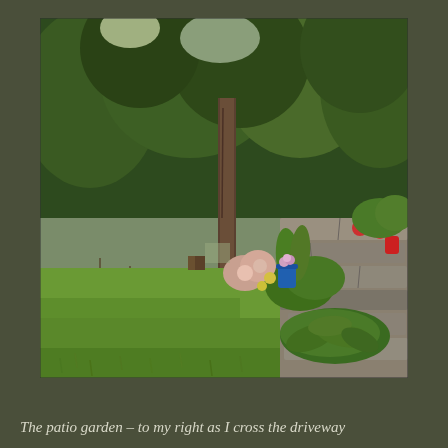[Figure (photo): A garden scene showing a lush green lawn with a stone patio/wall on the right side, flowering plants and hostas along the stone border, a large tree in the background center, and dense green forest trees filling the upper portion of the image. A blue pot with flowers is visible among the plantings.]
The patio garden – to my right as I cross the driveway